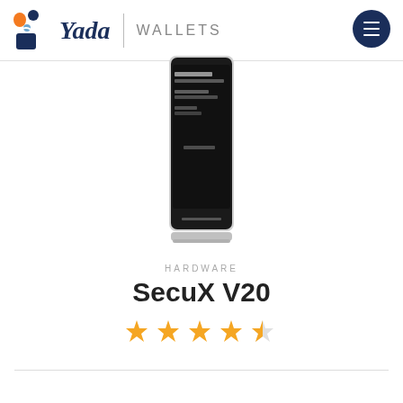Yada | WALLETS
[Figure (screenshot): A hardware crypto wallet device (SecuX V20) showing a dark screen with Bitcoin Cash transaction details. The device is a thin vertical card-like form factor with a display showing text including 'Bitcoin Cash', an address, amount, and 'Page 1 of 1'.]
HARDWARE
SecuX V20
[Figure (other): 4.5 out of 5 stars rating displayed as orange star icons]